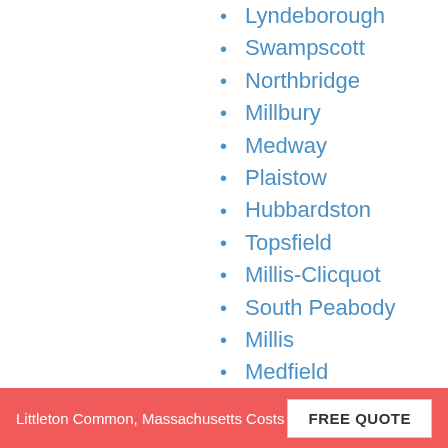Lyndeborough
Swampscott
Northbridge
Millbury
Medway
Plaistow
Hubbardston
Topsfield
Millis-Clicquot
South Peabody
Millis
Medfield
Mont Vernon
Sunderland
Worcester
Boxford
Revere
Littleton Common, Massachusetts Costs  FREE QUOTE